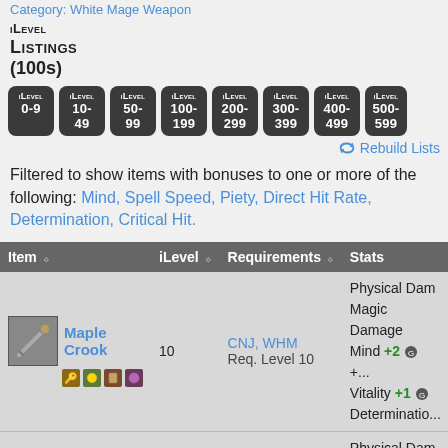Category: White Mage Weapon
iLevel Listings (100s)
iLevel 0-9
iLevel 10-49
iLevel 50-99
iLevel 100-199
iLevel 200-299
iLevel 300-399
iLevel 400-499
iLevel 500-599
Rebuild Lists
Filtered to show items with bonuses to one or more of the following: Mind, Spell Speed, Piety, Direct Hit Rate, Determination, Critical Hit.
| Item | iLevel | Requirements | Stats |
| --- | --- | --- | --- |
| Maple Crook | 10 | CNJ, WHM
Req. Level 10 | Physical Dam
Magic Damage
Mind +2 +...
Vitality +1
Determination... |
|  |  |  | Physical Dam
Magic Damage |